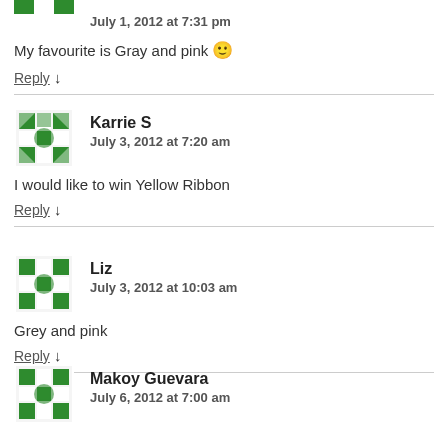[Figure (other): Partial green mosaic avatar icon at top of page]
My favourite is Gray and pink 🙂
Reply ↓
[Figure (other): Green mosaic avatar icon for Karrie S]
Karrie S
July 3, 2012 at 7:20 am
I would like to win Yellow Ribbon
Reply ↓
[Figure (other): Green mosaic avatar icon for Liz]
Liz
July 3, 2012 at 10:03 am
Grey and pink
Reply ↓
[Figure (other): Green mosaic avatar icon for Makoy Guevara]
Makoy Guevara
July 6, 2012 at 7:00 am
Gray and Blue.
Dropped by and Joined from Newbie Hop.
Reply ↓
[Figure (other): Partial green mosaic avatar icon at bottom of page]